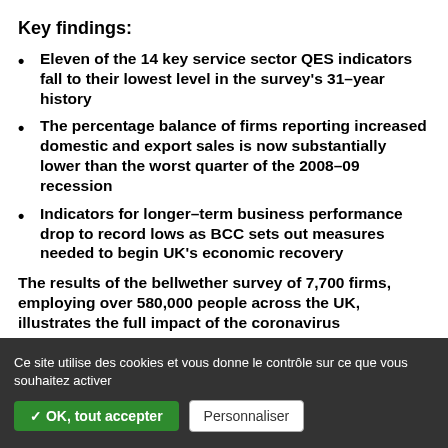Key findings:
Eleven of the 14 key service sector QES indicators fall to their lowest level in the survey's 31–year history
The percentage balance of firms reporting increased domestic and export sales is now substantially lower than the worst quarter of the 2008–09 recession
Indicators for longer–term business performance drop to record lows as BCC sets out measures needed to begin UK's economic recovery
The results of the bellwether survey of 7,700 firms, employing over 580,000 people across the UK, illustrates the full impact of the coronavirus
Ce site utilise des cookies et vous donne le contrôle sur ce que vous souhaitez activer ✓ OK, tout accepter  Personnaliser